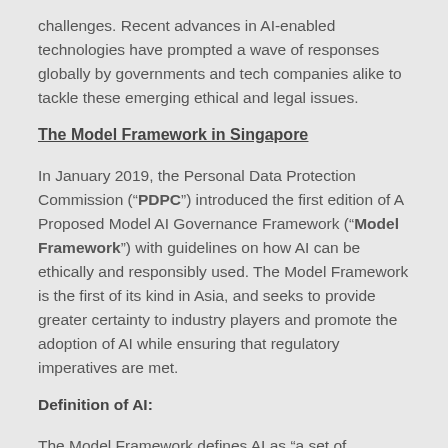challenges. Recent advances in AI-enabled technologies have prompted a wave of responses globally by governments and tech companies alike to tackle these emerging ethical and legal issues.
The Model Framework in Singapore
In January 2019, the Personal Data Protection Commission (“PDPC”) introduced the first edition of A Proposed Model AI Governance Framework (“Model Framework”) with guidelines on how AI can be ethically and responsibly used. The Model Framework is the first of its kind in Asia, and seeks to provide greater certainty to industry players and promote the adoption of AI while ensuring that regulatory imperatives are met.
Definition of AI:
The Model Framework defines AI as “a set of technologies that seek to simulate human traits such as knowledge, reasoning, problem solving,